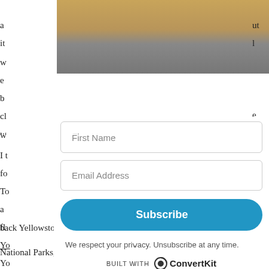[Figure (photo): Partial photo of what appears to be a wooden/natural scene, partially obscured by an overlay form]
a... ut
it... l
w
e
b
cl... e
w
I t... ne
fo
To... e
a... e
fl
Yo
Yo
th... y
[Figure (screenshot): Email subscription form overlay with First Name field, Email Address field, Subscribe button, privacy notice, and Built With ConvertKit branding]
back Yellowstone. But after visiting many more of our National Parks, and studying their challenges all across